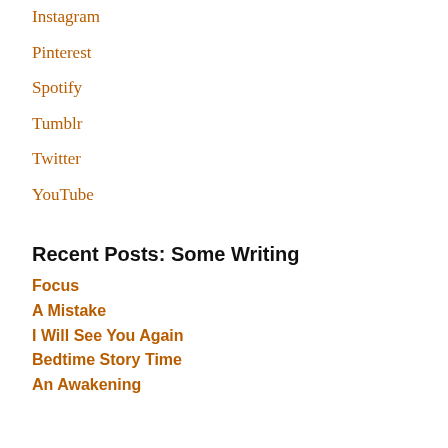Instagram
Pinterest
Spotify
Tumblr
Twitter
YouTube
Recent Posts: Some Writing
Focus
A Mistake
I Will See You Again
Bedtime Story Time
An Awakening